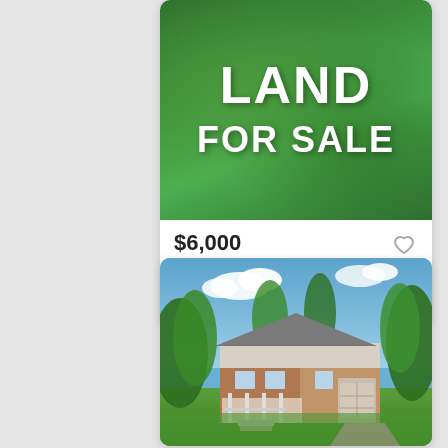[Figure (photo): Green grass background with large white text 'LAND FOR SALE']
$6,000
DWYER AVE, Millville, NJ
Courtesy of BHHS Fox & Roach-Vinel...
[Figure (photo): Exterior photo of a brick ranch-style house with lush green trees, blue sky with clouds, and a well-manicured lawn]